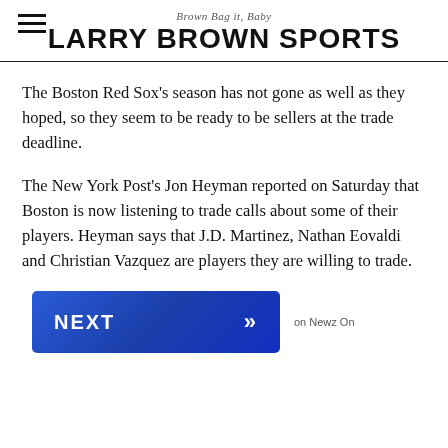Brown Bag it, Baby — LARRY BROWN SPORTS
The Boston Red Sox's season has not gone as well as they hoped, so they seem to be ready to be sellers at the trade deadline.
The New York Post's Jon Heyman reported on Saturday that Boston is now listening to trade calls about some of their players. Heyman says that J.D. Martinez, Nathan Eovaldi and Christian Vazquez are players they are willing to trade.
[Figure (other): Blue NEXT button with double chevron arrow, labeled 'on Newz On' to the right]